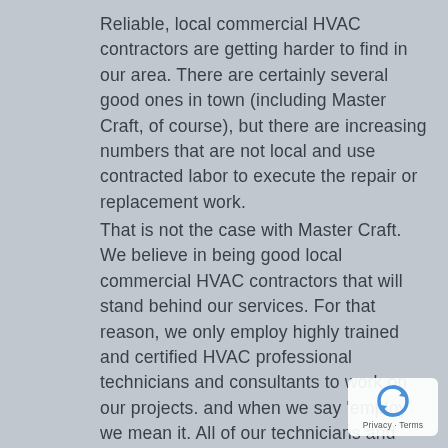Reliable, local commercial HVAC contractors are getting harder to find in our area. There are certainly several good ones in town (including Master Craft, of course), but there are increasing numbers that are not local and use contracted labor to execute the repair or replacement work.
That is not the case with Master Craft. We believe in being good local commercial HVAC contractors that will stand behind our services. For that reason, we only employ highly trained and certified HVAC professional technicians and consultants to work on our projects. and when we say 'employ' we mean it. All of our technicians and consultants are full time employees of Master Craft. And many have been with us as employees for years and are more like family than employees.
[Figure (logo): reCAPTCHA privacy badge with blue circular arrow logo and 'Privacy - Terms' text]